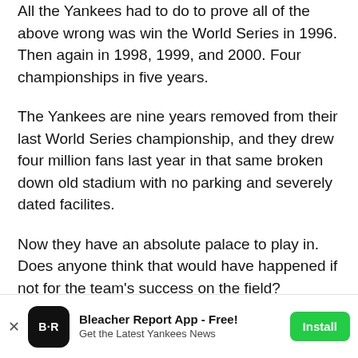All the Yankees had to do to prove all of the above wrong was win the World Series in 1996. Then again in 1998, 1999, and 2000. Four championships in five years.
The Yankees are nine years removed from their last World Series championship, and they drew four million fans last year in that same broken down old stadium with no parking and severely dated facilites.
Now they have an absolute palace to play in. Does anyone think that would have happened if not for the team's success on the field?
The Mets got their new $900 million palace also this past season, probably due to the fact the city was not going to build the Yankees a palace, and let the Mets sit in that
[Figure (screenshot): Bleacher Report App advertisement banner at the bottom of the screen. Shows B/R logo, 'Bleacher Report App - Free!' title, 'Get the Latest Yankees News' subtitle, and a green 'Install' button. A close (x) button is on the left.]